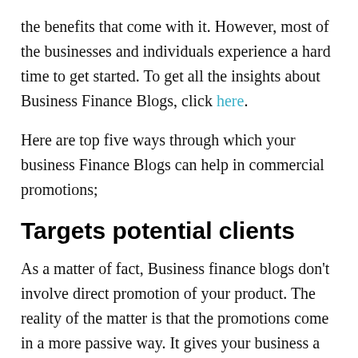the benefits that come with it. However, most of the businesses and individuals experience a hard time to get started. To get all the insights about Business Finance Blogs, click here.
Here are top five ways through which your business Finance Blogs can help in commercial promotions;
Targets potential clients
As a matter of fact, Business finance blogs don't involve direct promotion of your product. The reality of the matter is that the promotions come in a more passive way. It gives your business a chance to reveal all the important information about the industry you